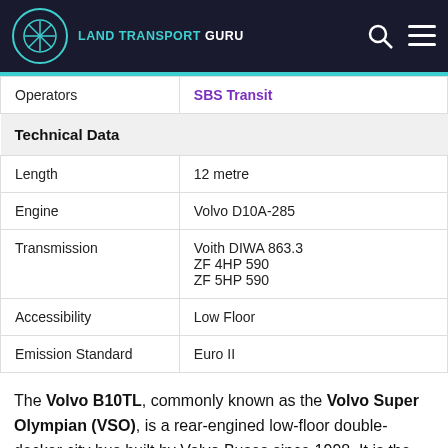Land Transport Guru
| Operators | SBS Transit |
| Technical Data |  |
| Length | 12 metre |
| Engine | Volvo D10A-285 |
| Transmission | Voith DIWA 863.3
ZF 4HP 590
ZF 5HP 590 |
| Accessibility | Low Floor |
| Emission Standard | Euro II |
The Volvo B10TL, commonly known as the Volvo Super Olympian (VSO), is a rear-engined low-floor double-decker city bus built by Volvo Buses since 1998. It is the successor to the three-axle Volvo Olympian, while the two-axle version was replaced by the